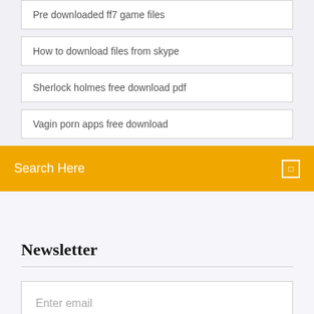Pre downloaded ff7 game files
How to download files from skype
Sherlock holmes free download pdf
Vagin porn apps free download
Search Here
Newsletter
Enter email